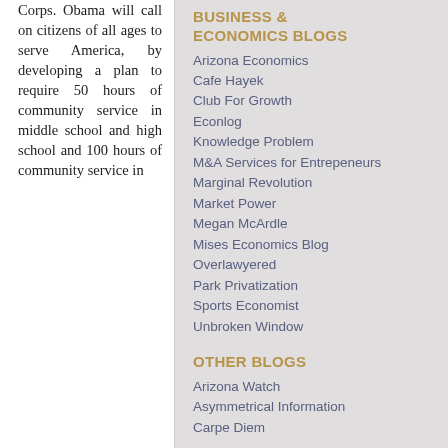Corps. Obama will call on citizens of all ages to serve America, by developing a plan to require 50 hours of community service in middle school and high school and 100 hours of community service in
BUSINESS & ECONOMICS BLOGS
Arizona Economics
Cafe Hayek
Club For Growth
Econlog
Knowledge Problem
M&A Services for Entrepeneurs
Marginal Revolution
Market Power
Megan McArdle
Mises Economics Blog
Overlawyered
Park Privatization
Sports Economist
Unbroken Window
OTHER BLOGS
Arizona Watch
Asymmetrical Information
Carpe Diem